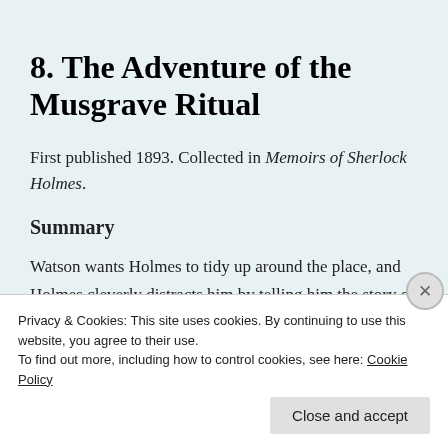8. The Adventure of the Musgrave Ritual
First published 1893. Collected in Memoirs of Sherlock Holmes.
Summary
Watson wants Holmes to tidy up around the place, and Holmes cleverly distracts him by telling him the story of one of his early cases. A
Privacy & Cookies: This site uses cookies. By continuing to use this website, you agree to their use.
To find out more, including how to control cookies, see here: Cookie Policy